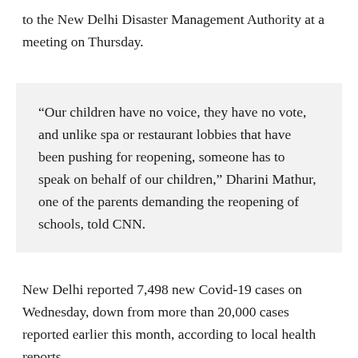to the New Delhi Disaster Management Authority at a meeting on Thursday.
“Our children have no voice, they have no vote, and unlike spa or restaurant lobbies that have been pushing for reopening, someone has to speak on behalf of our children,” Dharini Mathur, one of the parents demanding the reopening of schools, told CNN.
New Delhi reported 7,498 new Covid-19 cases on Wednesday, down from more than 20,000 cases reported earlier this month, according to local health reports.
Overall, India has reported more than 286,000 cases in the past day – up from a record high of more than 533,000 cases on January 14 – and 573 deaths, according to data from Johns Hopkins University.